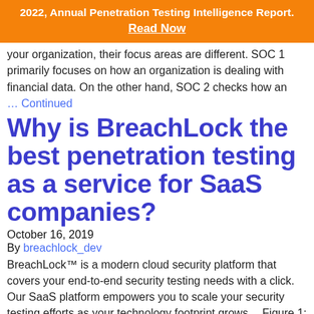2022, Annual Penetration Testing Intelligence Report. Read Now
your organization, their focus areas are different. SOC 1 primarily focuses on how an organization is dealing with financial data. On the other hand, SOC 2 checks how an … Continued
Why is BreachLock the best penetration testing as a service for SaaS companies?
October 16, 2019
By breachlock_dev
BreachLock™ is a modern cloud security platform that covers your end-to-end security testing needs with a click. Our SaaS platform empowers you to scale your security testing efforts as your technology footprint grows… Figure 1: BreachLock Platform Highlights. On